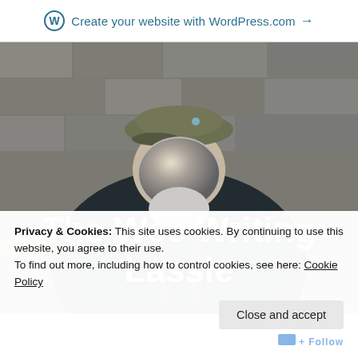Create your website with WordPress.com →
[Figure (photo): A man wearing a flat cap and dark jacket with suspenders, his face obscured by a large reflective disc/mirror, standing in front of a stone wall background. Hero image for 'The Wee Writing Lassie' blog.]
The Wee Writing Lassie
Privacy & Cookies: This site uses cookies. By continuing to use this website, you agree to their use.
To find out more, including how to control cookies, see here: Cookie Policy
Close and accept